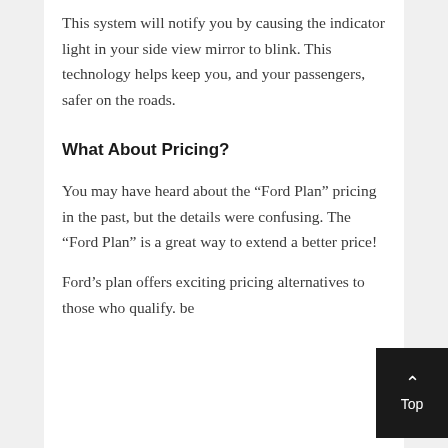This system will notify you by causing the indicator light in your side view mirror to blink. This technology helps keep you, and your passengers, safer on the roads.
What About Pricing?
You may have heard about the “Ford Plan” pricing in the past, but the details were confusing. The “Ford Plan” is a great way to extend a better price!
Ford’s plan offers exciting pricing alternatives to those who qualify. be